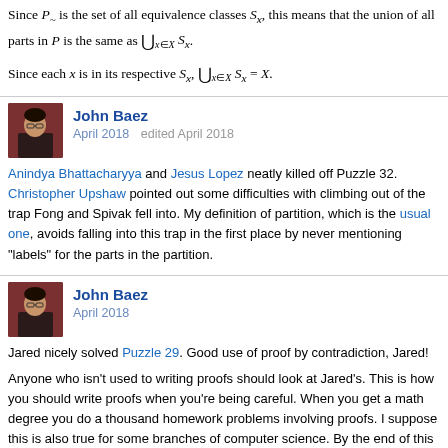Since P~ is the set of all equivalence classes S_x, this means that the union of all parts in P is the same as ⋃_{x∈X} S_x.
John Baez
April 2018   edited April 2018
Anindya Bhattacharyya and Jesus Lopez neatly killed off Puzzle 32. Christopher Upshaw pointed out some difficulties with climbing out of the trap Fong and Spivak fell into. My definition of partition, which is the usual one, avoids falling into this trap in the first place by never mentioning "labels" for the parts in the partition.
John Baez
April 2018
Jared nicely solved Puzzle 29. Good use of proof by contradiction, Jared!
Anyone who isn't used to writing proofs should look at Jared's. This is how you should write proofs when you're being careful. When you get a math degree you do a thousand homework problems involving proofs. I suppose this is also true for some branches of computer science. By the end of this training, you can crank out proofs quite quickly unless they involve a deep and difficult trick. Someone shared this comment about looking after it...